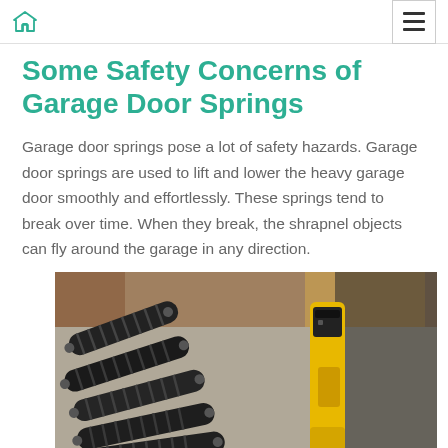Some Safety Concerns of Garage Door Springs
Garage door springs pose a lot of safety hazards. Garage door springs are used to lift and lower the heavy garage door smoothly and effortlessly. These springs tend to break over time. When they break, the shrapnel objects can fly around the garage in any direction.
[Figure (photo): Photograph of multiple dark grey/black coiled garage door springs laid out on a concrete floor next to a yellow tool or machine.]